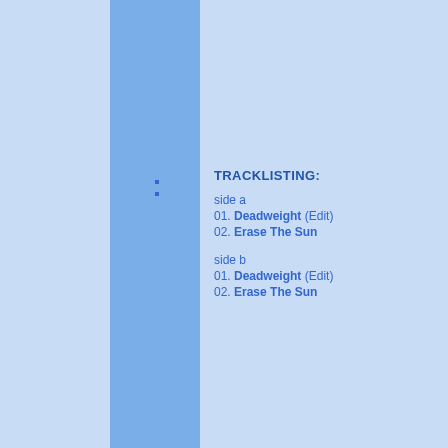[Figure (illustration): Light blue background with a medium blue vertical stripe on the left-center portion of the page, extending the full height. A slightly darker blue rectangle occupies the upper portion of the stripe area.]
TRACKLISTING:

side a
01. Deadweight (Edit)
02. Erase The Sun

side b
01. Deadweight (Edit)
02. Erase The Sun